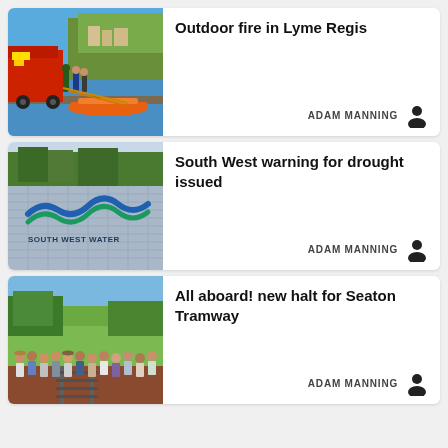[Figure (photo): Firefighters and rescue workers on a dock with boats in Lyme Regis harbour]
Outdoor fire in Lyme Regis
ADAM MANNING
[Figure (photo): South West Water company sign with logo]
South West warning for drought issued
ADAM MANNING
[Figure (photo): Group of people standing at a tramway halt with green fields and a tram track]
All aboard! new halt for Seaton Tramway
ADAM MANNING